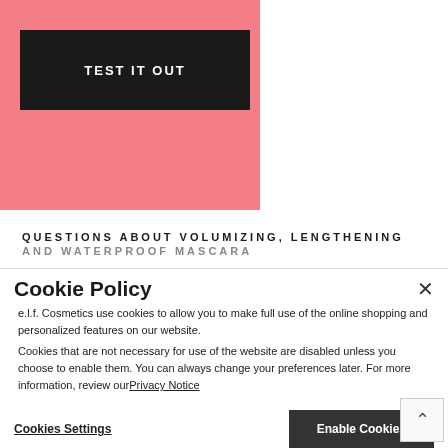[Figure (other): Pink promotional banner with a black 'TEST IT OUT' button on coral/salmon background]
QUESTIONS ABOUT VOLUMIZING, LENGTHENING AND WATERPROOF MASCARA
What is the difference between volumizing mascara and lengthening mascara?
Mascaras are made to enhance and to enhance your eyes overall. They add color, length, and volume. Some mascaras are both volumizing and lengthening that do it all. Others just add volume or length. A lengthening mascara provide a more natural look as it lengthens, separates, and defines lashes. Lash lengthening mascaras feature a thinner more defining brush allows you to apply the mascara evenly from root to tips without clumping. A voluminous mascara will thicken and plump each individual lash.
Cookie Policy
e.l.f. Cosmetics use cookies to allow you to make full use of the online shopping and personalized features on our website. Cookies that are not necessary for use of the website are disabled unless you choose to enable them. You can always change your preferences later. For more information, review our Privacy Notice
Cookies Settings
Enable Cookies
What does volumizing mascara do?